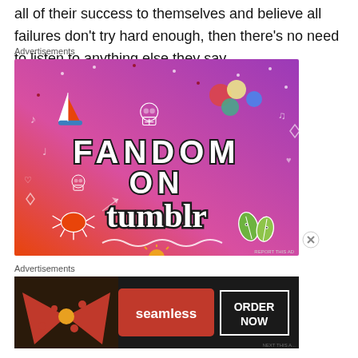all of their success to themselves and believe all failures don't try hard enough, then there's no need to listen to anything else they say.
Advertisements
[Figure (illustration): Tumblr 'Fandom on tumblr' advertisement with colorful gradient background (orange to purple) featuring doodles, skulls, a sailboat, dice, leaves, and bold text reading FANDOM ON tumblr]
Advertisements
[Figure (illustration): Seamless food delivery advertisement showing pizza slices on the left, Seamless logo in center, and ORDER NOW button on the right, dark background]